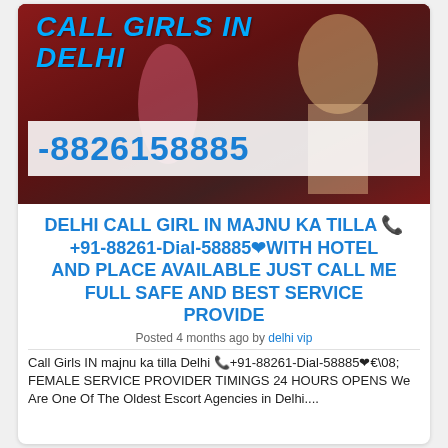[Figure (photo): Advertisement image showing text 'CALL GIRLS IN DELHI' in blue italic bold font over a dark reddish background with female figure, and a white banner showing phone number -8826158885 in blue bold text]
DELHI CALL GIRL IN MAJNU KA TILLA 📞 +91-88261-Dial-58885❤️WITH HOTEL AND PLACE AVAILABLE JUST CALL ME FULL SAFE AND BEST SERVICE PROVIDE
Posted 4 months ago by delhi vip
Call Girls IN majnu ka tilla Delhi 📞+91-88261-Dial-58885❤️🔊 FEMALE SERVICE PROVIDER TIMINGS 24 HOURS OPENS We Are One Of The Oldest Escort Agencies in Delhi....